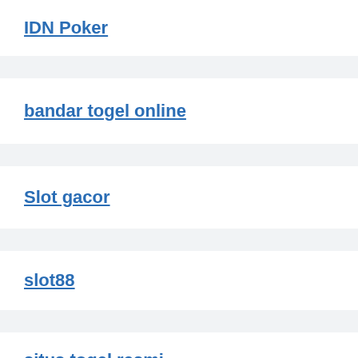IDN Poker
bandar togel online
Slot gacor
slot88
situs togel resmi